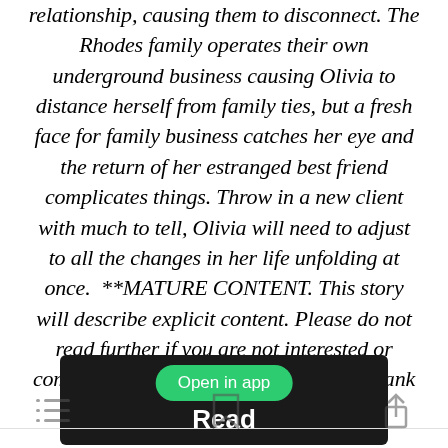relationship, causing them to disconnect. The Rhodes family operates their own underground business causing Olivia to distance herself from family ties, but a fresh face for family business catches her eye and the return of her estranged best friend complicates things. Throw in a new client with much to tell, Olivia will need to adjust to all the changes in her life unfolding at once.  **MATURE CONTENT. This story will describe explicit content. Please do not read further if you are not interested or comfortable with this type of reading. Thank you.**
[Figure (screenshot): App button area with green 'Open in app' pill button and white 'Read' text on dark background]